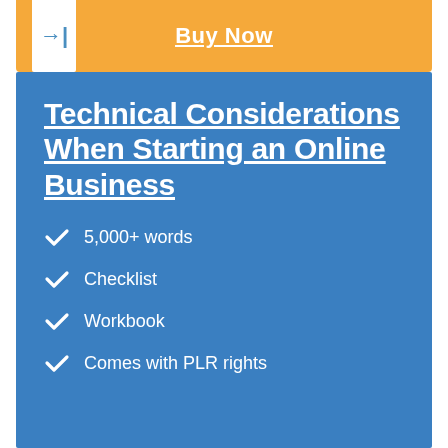Buy Now
Technical Considerations When Starting an Online Business
5,000+ words
Checklist
Workbook
Comes with PLR rights